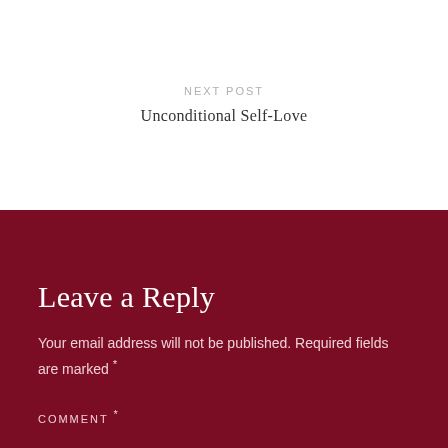NEXT POST
Unconditional Self-Love
Leave a Reply
Your email address will not be published. Required fields are marked *
COMMENT *